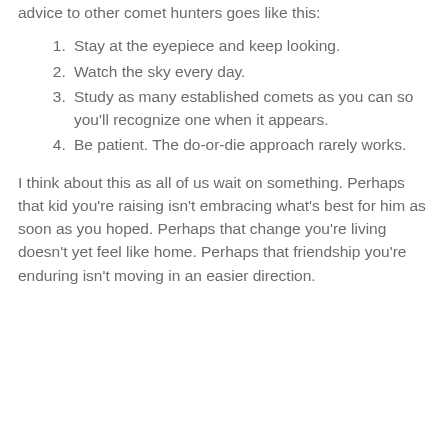advice to other comet hunters goes like this:
Stay at the eyepiece and keep looking.
Watch the sky every day.
Study as many established comets as you can so you'll recognize one when it appears.
Be patient. The do-or-die approach rarely works.
I think about this as all of us wait on something. Perhaps that kid you're raising isn't embracing what's best for him as soon as you hoped. Perhaps that change you're living doesn't yet feel like home. Perhaps that friendship you're enduring isn't moving in an easier direction.